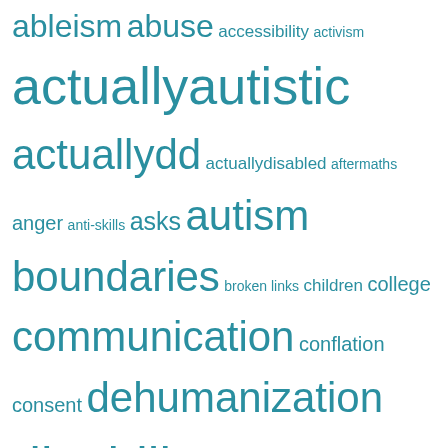[Figure (infographic): Tag cloud with various social skills and disability-related terms in teal/blue color, varying font sizes indicating frequency]
© 2022 All rights reserved
Proudly powered by WordPress | Theme: Simple Life by Nilambar.